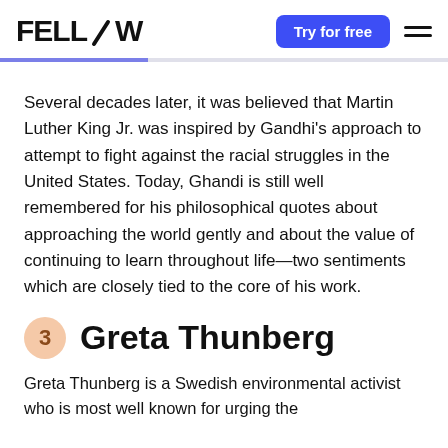FELLOW | Try for free
Several decades later, it was believed that Martin Luther King Jr. was inspired by Gandhi's approach to attempt to fight against the racial struggles in the United States. Today, Ghandi is still well remembered for his philosophical quotes about approaching the world gently and about the value of continuing to learn throughout life—two sentiments which are closely tied to the core of his work.
3  Greta Thunberg
Greta Thunberg is a Swedish environmental activist who is most well known for urging the